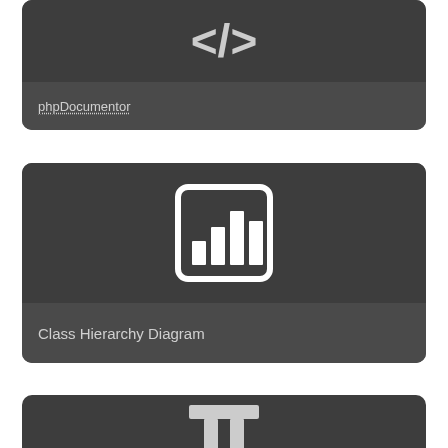[Figure (screenshot): Card with code/XML icon (</> symbol) and label 'phpDocumentor']
phpDocumentor
[Figure (screenshot): Card with bar chart icon and label 'Class Hierarchy Diagram']
Class Hierarchy Diagram
[Figure (screenshot): Partial card with a pillar/table icon visible at the bottom]